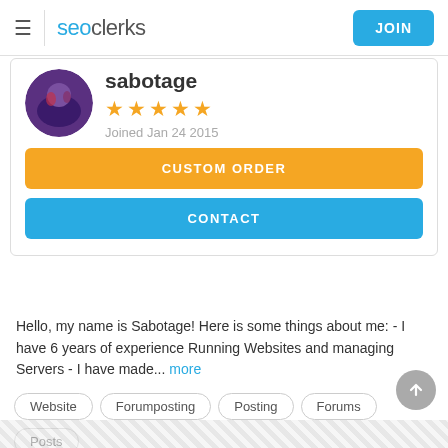seoclerks — JOIN
[Figure (photo): Circular avatar photo of user Sabotage, purple/dark tones]
sabotage
★★★★★
Joined Jan 24 2015
CUSTOM ORDER
CONTACT
Hello, my name is Sabotage! Here is some things about me: - I have 6 years of experience Running Websites and managing Servers - I have made... more
Website
Forumposting
Posting
Forums
Posts